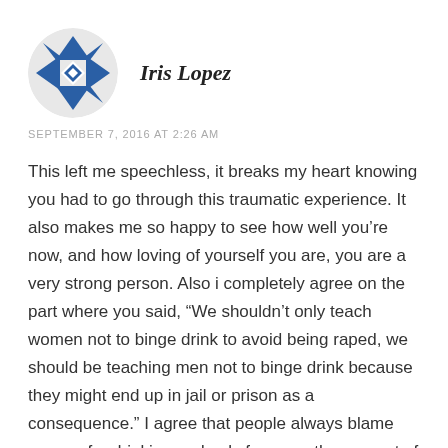[Figure (illustration): Circular avatar icon with a blue and white geometric/star pattern design]
Iris Lopez
SEPTEMBER 7, 2016 AT 2:26 AM
This left me speechless, it breaks my heart knowing you had to go through this traumatic experience. It also makes me so happy to see how well you’re now, and how loving of yourself you are, you are a very strong person. Also i completely agree on the part where you said, “We shouldn’t only teach women not to binge drink to avoid being raped, we should be teaching men not to binge drink because they might end up in jail or prison as a consequence.” I agree that people always blame women for drinking and only focus on the amount of